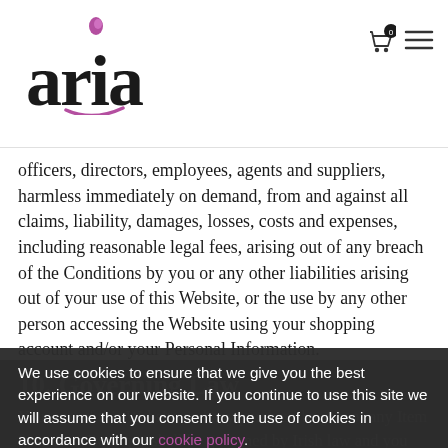[Figure (logo): Aria Boutique logo with stylized 'aria' text in black and pink dot accent]
officers, directors, employees, agents and suppliers, harmless immediately on demand, from and against all claims, liability, damages, losses, costs and expenses, including reasonable legal fees, arising out of any breach of the Conditions by you or any other liabilities arising out of your use of this Website, or the use by any other person accessing the Website using your shopping account and/or your Personal Information.
10. Governing Law
Your use of this Website and any purchase by you of any Item from Aria Boutique shall be governed by Irish law and you hereto submit to the exclusive jurisdiction of the Irish courts. If any provision(s) of the terms of use is held by a
We use cookies to ensure that we give you the best experience on our website. If you continue to use this site we will assume that you consent to the use of cookies in accordance with our cookie policy.